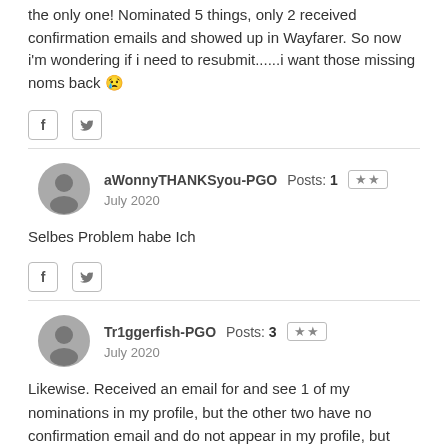the only one! Nominated 5 things, only 2 received confirmation emails and showed up in Wayfarer. So now i'm wondering if i need to resubmit......i want those missing noms back 😢
aWonnyTHANKSyou-PGO  Posts: 1  ★★  July 2020
Selbes Problem habe Ich
Tr1ggerfish-PGO  Posts: 3  ★★  July 2020
Likewise. Received an email for and see 1 of my nominations in my profile, but the other two have no confirmation email and do not appear in my profile, but nevertheless deducted from my available submissions.